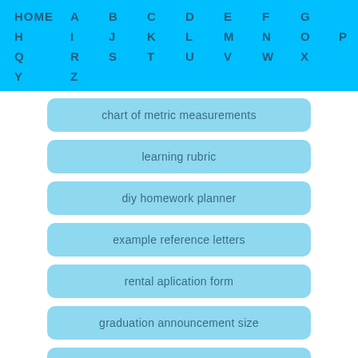HOME
A
B
C
D
E
F
G
H
I
J
K
L
M
N
O
P
Q
R
S
T
U
V
W
X
Y
Z
chart of metric measurements
learning rubric
diy homework planner
example reference letters
rental aplication form
graduation announcement size
net worth calculate